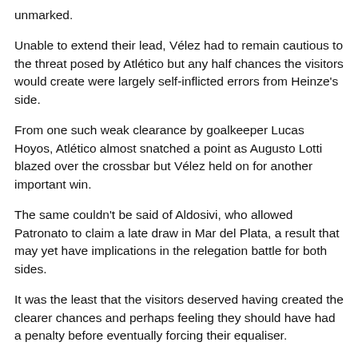unmarked.
Unable to extend their lead, Vélez had to remain cautious to the threat posed by Atlético but any half chances the visitors would create were largely self-inflicted errors from Heinze's side.
From one such weak clearance by goalkeeper Lucas Hoyos, Atlético almost snatched a point as Augusto Lotti blazed over the crossbar but Vélez held on for another important win.
The same couldn't be said of Aldosivi, who allowed Patronato to claim a late draw in Mar del Plata, a result that may yet have implications in the relegation battle for both sides.
It was the least that the visitors deserved having created the clearer chances and perhaps feeling they should have had a penalty before eventually forcing their equaliser.
Sebastián Rincón's deflected close-range finish gave Aldosivi the lead midway through the second half but it was Patronato